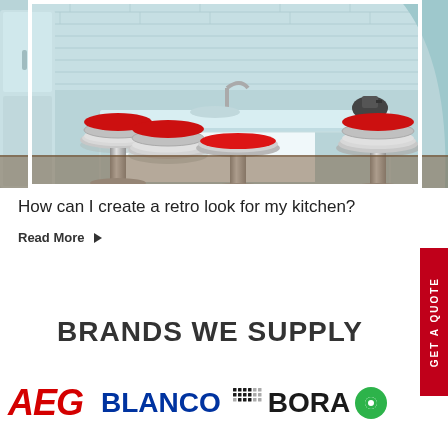[Figure (photo): Retro kitchen scene with red chrome bar stools around a light blue kitchen island counter. Multiple stools visible, chrome finish with red cushioned seats.]
How can I create a retro look for my kitchen?
Read More ▶
BRANDS WE SUPPLY
[Figure (logo): AEG logo in red italic bold text]
[Figure (logo): BLANCO logo in blue bold text]
[Figure (logo): BORA logo with dot matrix prefix and green circle icon]